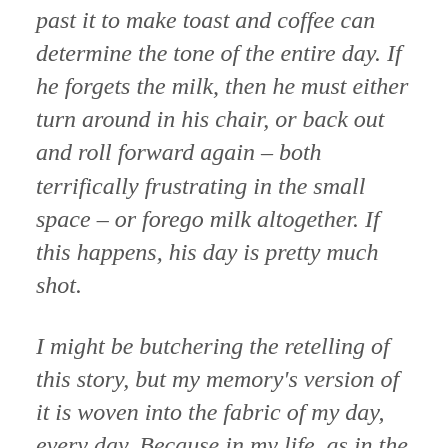past it to make toast and coffee can determine the tone of the entire day. If he forgets the milk, then he must either turn around in his chair, or back out and roll forward again – both terrifically frustrating in the small space – or forego milk altogether. If this happens, his day is pretty much shot.
I might be butchering the retelling of this story, but my memory's version of it is woven into the fabric of my day, every day. Because in my life, as in the lives of many writers, I have only one overarching goal of